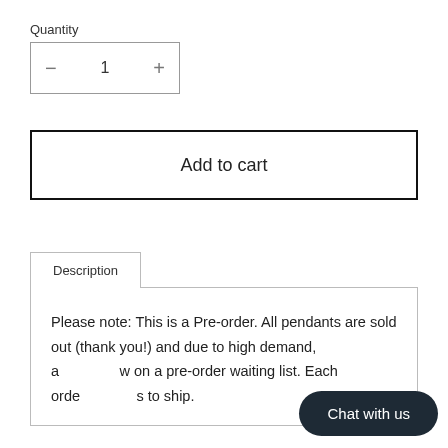Quantity
− 1 +
Add to cart
Description
Please note: This is a Pre-order. All pendants are sold out (thank you!) and due to high demand, a[…]w on a pre-order waiting list. Each orde[…]s to ship.
Chat with us